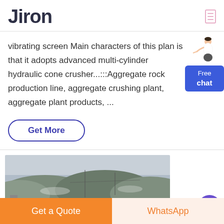Jiron
vibrating screen Main characters of this plan is that it adopts advanced multi-cylinder hydraulic cone crusher...:::Aggregate rock production line, aggregate crushing plant, aggregate plant products, ...
[Figure (illustration): Free chat widget with woman figure and blue button labeled Free chat]
Get More
[Figure (photo): Landscape photo showing hills, industrial buildings and structures under overcast sky]
[Figure (other): Purple circle button in bottom right of image area]
Get a Quote
WhatsApp